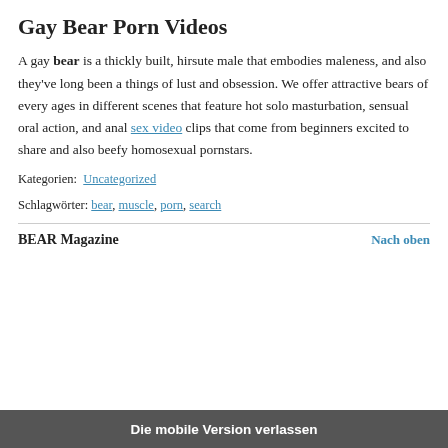Gay Bear Porn Videos
A gay bear is a thickly built, hirsute male that embodies maleness, and also they've long been a things of lust and obsession. We offer attractive bears of every ages in different scenes that feature hot solo masturbation, sensual oral action, and anal sex video clips that come from beginners excited to share and also beefy homosexual pornstars.
Kategorien: Uncategorized
Schlagwörter: bear, muscle, porn, search
BEAR Magazine
Nach oben
Die mobile Version verlassen